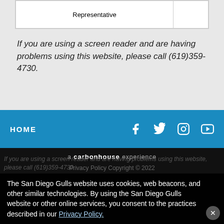| Representative |  |
| --- | --- |
| Representative |  |
If you are using a screen reader and are having problems using this website, please call (619)359-4730.
HOME
a carbonhouse experience
Privacy Policy Copyright © 2022
The San Diego Gulls website uses cookies, web beacons, and other similar technologies. By using the San Diego Gulls website or other online services, you consent to the practices described in our Privacy Policy.